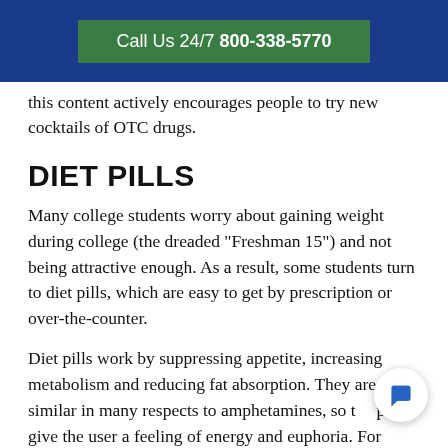Call Us 24/7 800-338-5770
this content actively encourages people to try new cocktails of OTC drugs.
DIET PILLS
Many college students worry about gaining weight during college (the dreaded “Freshman 15”) and not being attractive enough. As a result, some students turn to diet pills, which are easy to get by prescription or over-the-counter.
Diet pills work by suppressing appetite, increasing metabolism and reducing fat absorption. They are similar in many respects to amphetamines, so the pills give the user a feeling of energy and euphoria. For these reasons, students may abuse